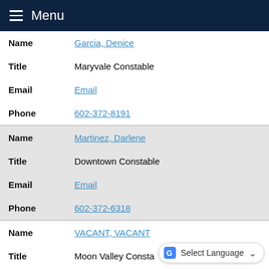Menu
| Field | Value |
| --- | --- |
| Name | Garcia, Denice |
| Title | Maryvale Constable |
| Email | Email |
| Phone | 602-372-8191 |
| Name | Martinez, Darlene |
| Title | Downtown Constable |
| Email | Email |
| Phone | 602-372-6318 |
| Name | VACANT, VACANT |
| Title | Moon Valley Constable |
| Email |  |